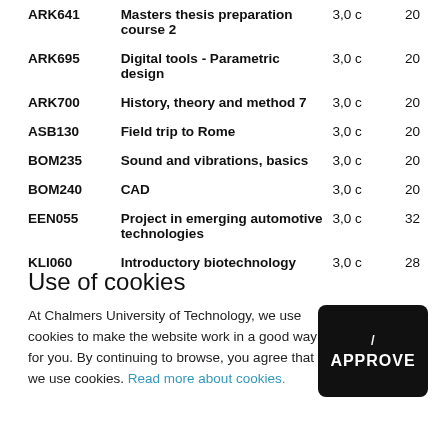| Code | Course name | Credits | Students |
| --- | --- | --- | --- |
| ARK641 | Masters thesis preparation course 2 | 3,0 c | 20 |
| ARK695 | Digital tools - Parametric design | 3,0 c | 20 |
| ARK700 | History, theory and method 7 | 3,0 c | 20 |
| ASB130 | Field trip to Rome | 3,0 c | 20 |
| BOM235 | Sound and vibrations, basics | 3,0 c | 20 |
| BOM240 | CAD | 3,0 c | 20 |
| EEN055 | Project in emerging automotive technologies | 3,0 c | 32 |
| KLI060 | Introductory biotechnology | 3,0 c | 28 |
Use of cookies
At Chalmers University of Technology, we use cookies to make the website work in a good way for you. By continuing to browse, you agree that we use cookies. Read more about cookies.
[Figure (other): Black button with text 'I APPROVE']